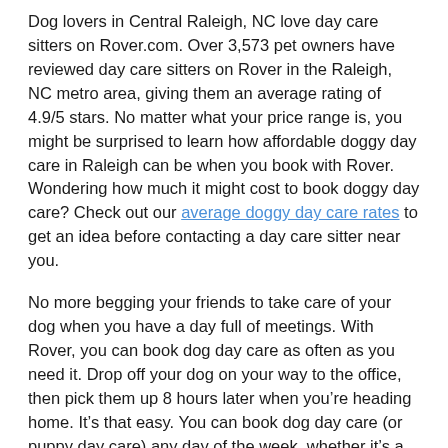Dog lovers in Central Raleigh, NC love day care sitters on Rover.com. Over 3,573 pet owners have reviewed day care sitters on Rover in the Raleigh, NC metro area, giving them an average rating of 4.9/5 stars. No matter what your price range is, you might be surprised to learn how affordable doggy day care in Raleigh can be when you book with Rover. Wondering how much it might cost to book doggy day care? Check out our average doggy day care rates to get an idea before contacting a day care sitter near you.
No more begging your friends to take care of your dog when you have a day full of meetings. With Rover, you can book dog day care as often as you need it. Drop off your dog on your way to the office, then pick them up 8 hours later when you’re heading home. It’s that easy. You can book dog day care (or puppy day care) any day of the week, whether it’s a one–time thing, all week, or an every–Tuesday arrangement. And just like overnight pet sitting booked through Rover, you get free premium insurance, a team of safety experts available 24/7, and cute photo updates sometime during the day. It’s the easiest way to find a trustworthy sitter for your dog, someone who’ll treat them like family while you’re at work. Find your dog’s perfect sitter, book, and relax. Your dog is in good hands.